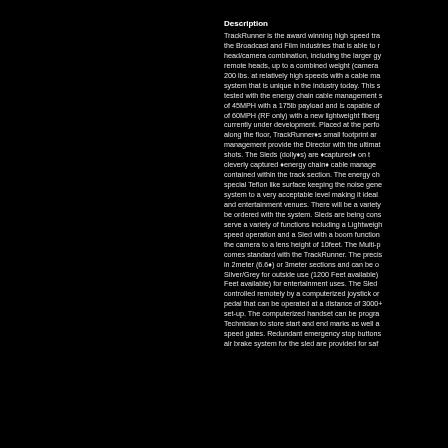Description
TrackRunner is the award winning high speed track system for the Broadcast and Film industries that is able to move any remote head/camera combination, including the larger gyro stabilized remote heads, up to a combined weight (camera + head) of over 200 lbs. at relatively high speeds with a cable management system that is unique in the industry today. This system has been tested with the energy chain cable management system to speeds of 45MPH with a 175lb payload and is capable of reaching speeds of 60MPH (RF only) with a new lightweight fiberglass energy chain currently under development. Placed at the performers feet or along the floor, TrackRunner's small footprint and clean cable management provide the Director with the ultimate in tracking shots. The Sleds (dolly's) are 'captured' on the track via a cleverly captured 'energy chain' cable management system contained within the track section. The energy chain runs on a special Teflon like surface keeping the noise generated by the system to a very acceptable level making it ideal for television and entertainment venues. There will be a variety of Sleds that can be ordered with the system. Sleds are being constructed to serve a variety of functions including a Lightweight Sled for high speed operation and a Sled with a boom function that can raise the camera to a lens height of 10feet. The Multi-purpose Sled comes standard with the TrackRunner. The precision track comes in 2meter (6.6') or 3meter sections and can be ordered in Silver/Grey for outside use (1200 Feet available) or Black (1200 Feet available) for entertainment uses. The Sled can be controlled remotely by a computerized joystick or by a foot pedal that can be operated at a distance of 3000+ feet from the set-up. The computerized handset can be programmed by the Technician to store start and end marks as well as variable speed gates. Redundant emergency stop buttons and a pneumatic air brake system for the sled are provided for safety.